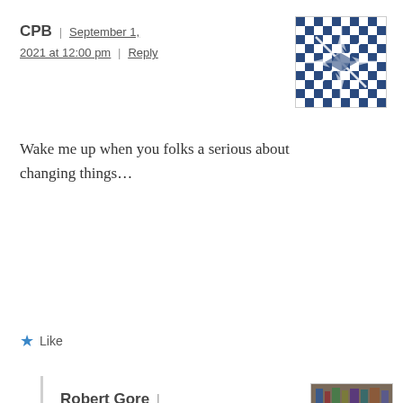CPB | September 1, 2021 at 12:00 pm | Reply
[Figure (illustration): Checkerboard/snowflake pattern avatar for CPB user]
Wake me up when you folks a serious about changing things…
★ Like
Robert Gore | September 1, 2021 at 12:08 pm | Reply
[Figure (photo): Profile photo of Robert Gore, a middle-aged man]
Satire has brought down regimes.
★ Liked by 1 person
Pingback: Nothing New Under The Sun 2016